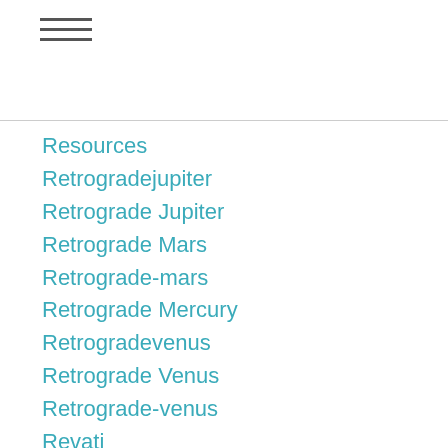≡
Resources
Retrogradejupiter
Retrograde Jupiter
Retrograde Mars
Retrograde-mars
Retrograde Mercury
Retrogradevenus
Retrograde Venus
Retrograde-venus
Revati
Ribcage
Ribcase
Rohini
Rsvp
Rudra
Saas Fee
Sagittarius